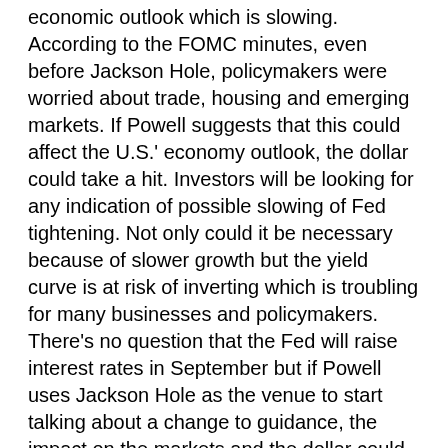economic outlook which is slowing. According to the FOMC minutes, even before Jackson Hole, policymakers were worried about trade, housing and emerging markets. If Powell suggests that this could affect the U.S.' economy outlook, the dollar could take a hit. Investors will be looking for any indication of possible slowing of Fed tightening. Not only could it be necessary because of slower growth but the yield curve is at risk of inverting which is troubling for many businesses and policymakers. There's no question that the Fed will raise interest rates in September but if Powell uses Jackson Hole as the venue to start talking about a change to guidance, the impact on the markets and the dollar could be significant (we could see USDJPY back at 110). However if Powell refrains from any new revelations or guidance, USD/JPY could extend its gains to 111.50 and EUR/USD could drop to 1.15.
Since its not clear at this time whether Draghi or